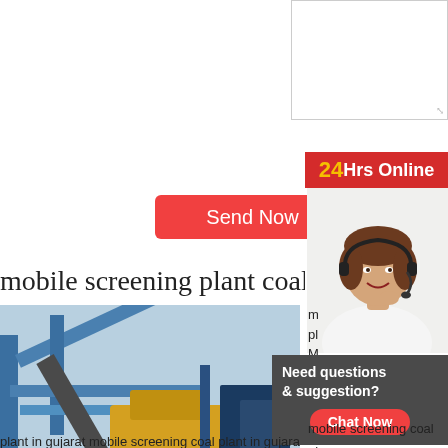[Figure (screenshot): Textarea input box for message/comment]
[Figure (screenshot): Red Send Now button]
[Figure (screenshot): 24Hrs Online banner in red with yellow 24]
[Figure (photo): Customer service representative wearing headset, smiling]
mobile screening plant coal in g
[Figure (photo): Industrial mining/crushing plant machinery with blue steel frame and yellow equipment. Email:lmzgvip@gmail.com overlay at bottom.]
m pl M Sc M pl fe
mobile screening coal plant in gujarat mobile screening coal plant in gujarat SKD excellent
[Figure (screenshot): Need questions & suggestion? Chat Now popup panel]
mobile screening coal plant in gujarat
mobile screening coal
plant in gujarat
pakistan crusher,stone